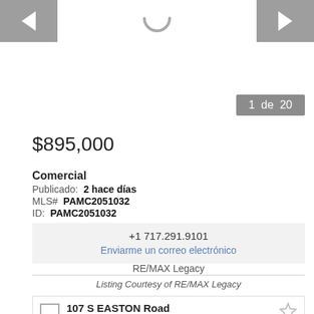[Figure (screenshot): Image carousel area with left/right navigation arrows and a loading spinner in the center. Counter badge shows '1 de 20'.]
$895,000
Comercial
Publicado: 2 hace días
MLS# PAMC2051032
ID: PAMC2051032
+1 717.291.9101
Enviarme un correo electrónico
RE/MAX Legacy
Listing Courtesy of RE/MAX Legacy
107 S EASTON Road
107 S EASTON Road Glenside, Pennsylvania 19...